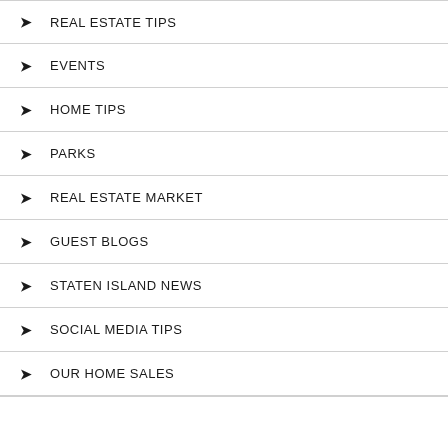REAL ESTATE TIPS
EVENTS
HOME TIPS
PARKS
REAL ESTATE MARKET
GUEST BLOGS
STATEN ISLAND NEWS
SOCIAL MEDIA TIPS
OUR HOME SALES